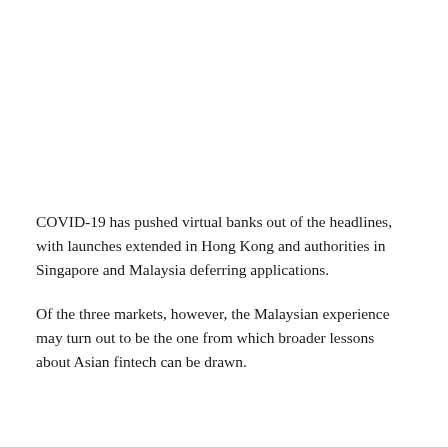COVID-19 has pushed virtual banks out of the headlines, with launches extended in Hong Kong and authorities in Singapore and Malaysia deferring applications.
Of the three markets, however, the Malaysian experience may turn out to be the one from which broader lessons about Asian fintech can be drawn.